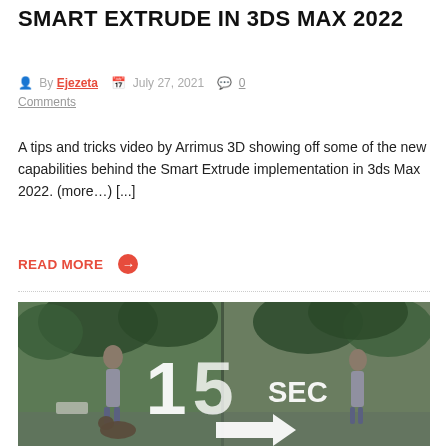SMART EXTRUDE IN 3DS MAX 2022
By Ejezeta   July 27, 2021   0 Comments
A tips and tricks video by Arrimus 3D showing off some of the new capabilities behind the Smart Extrude implementation in 3ds Max 2022. (more…) [...]
READ MORE →
[Figure (photo): Split-frame image showing a woman walking a dog outdoors, with overlaid text '15 SEC' and a white arrow pointing right, implying a before/after comparison.]